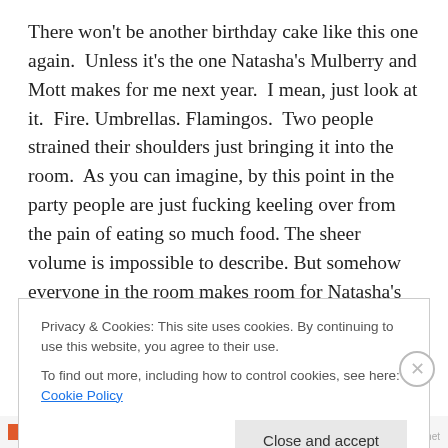There won't be another birthday cake like this one again.  Unless it's the one Natasha's Mulberry and Mott makes for me next year.  I mean, just look at it.  Fire. Umbrellas. Flamingos.  Two people strained their shoulders just bringing it into the room.  As you can imagine, by this point in the party people are just fucking keeling over from the pain of eating so much food. The sheer volume is impossible to describe. But somehow everyone in the room makes room for Natasha's desserts. As I've mentioned many times, they are the official cake provider of the Fisher Family.
Privacy & Cookies: This site uses cookies. By continuing to use this website, you agree to their use.
To find out more, including how to control cookies, see here: Cookie Policy